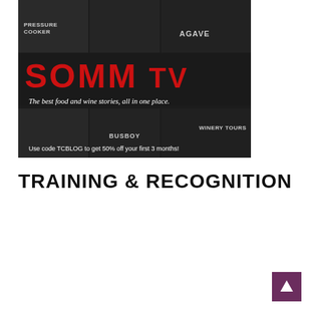[Figure (screenshot): SOMM TV advertisement banner. Dark background with red SOMM TV logo text at top, food and wine video thumbnails including labels AGAVE, BUSBOY, WINERY TOURS, PRESSURE COOKER visible in grid. White italic text reads 'The best food and wine stories, all in one place.' Promo text: 'Use code TCBLOG to get 50% off your first 3 months!']
TRAINING & RECOGNITION